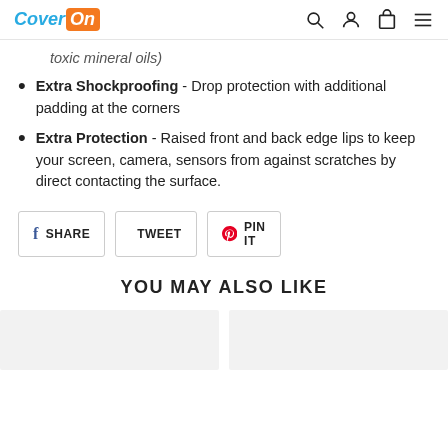CoverOn [logo] with search, account, cart, menu icons
toxic mineral oils)
Extra Shockproofing - Drop protection with additional padding at the corners
Extra Protection - Raised front and back edge lips to keep your screen, camera, sensors from against scratches by direct contacting the surface.
SHARE  TWEET  PIN IT
YOU MAY ALSO LIKE